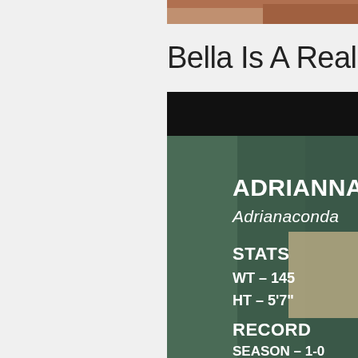[Figure (screenshot): Top portion shows a partial photo of a person, cropped at the top of the page.]
Bella Is A Real M
[Figure (screenshot): TV broadcast graphic showing wrestler/competitor stats card with dark green background. Shows: ADRIANNA, nickname Adrianaconda, STATS: WT - 145, HT - 5'7", RECORD: SEASON - 1-0. There is a tan/beige square overlay on the right side partially obscuring the graphic.]